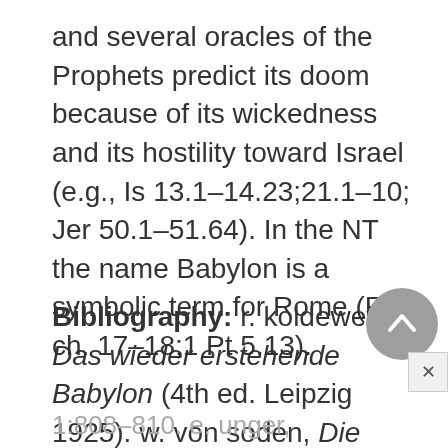and several oracles of the Prophets predict its doom because of its wickedness and its hostility toward Israel (e.g., Is 13.1–14.23;21.1–10; Jer 50.1–51.64). In the NT the name Babylon is a symbolic term for Rome (Rv ch. 17–18;1 Pt 5.13).
Bibliography: r. koldewey, Das wieder erstehende Babylon (4th ed. Leipzig 1925). w. von soden, Die Religion in Geschichte und Gegenwart
1:808–810. e. unger, Reallexikon der